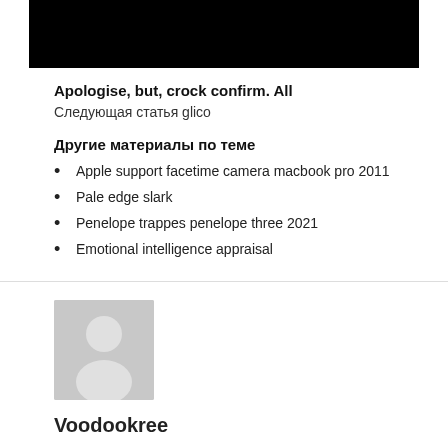[Figure (photo): Black rectangle bar at top of page]
Apologise, but, crock confirm. All
Следующая статья glico
Другие материалы по теме
Apple support facetime camera macbook pro 2011
Pale edge slark
Penelope trappes penelope three 2021
Emotional intelligence appraisal
[Figure (illustration): Gray avatar silhouette placeholder image]
Voodookree
Все записи автора: Zulurg →